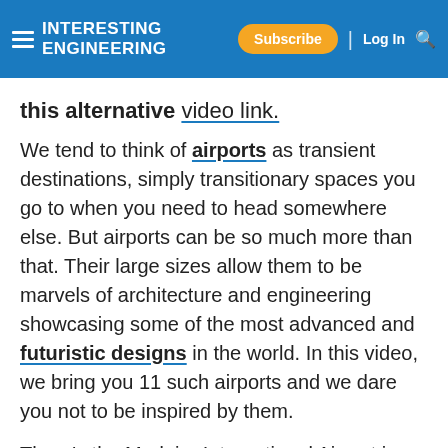Interesting Engineering — Subscribe | Log In [search]
this alternative video link.
We tend to think of airports as transient destinations, simply transitionary spaces you go to when you need to head somewhere else. But airports can be so much more than that. Their large sizes allow them to be marvels of architecture and engineering showcasing some of the most advanced and futuristic designs in the world. In this video, we bring you 11 such airports and we dare you not to be inspired by them.
There's the Madeira International Airport in Portugal that is considered one of the most peculiarly perilous airports in the world. It has a runway that extends into